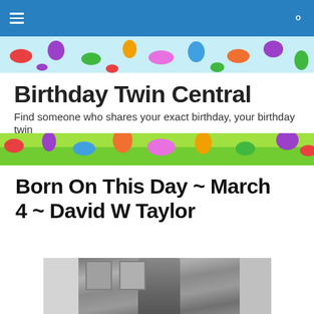Birthday Twin Central
Find someone who shares your exact birthday, your birthday twin
Born On This Day ~ March 4 ~ David W Taylor
[Figure (photo): Black and white photograph of David W Taylor standing at a desk in a uniform, with two framed portrait paintings visible on the wall behind him.]